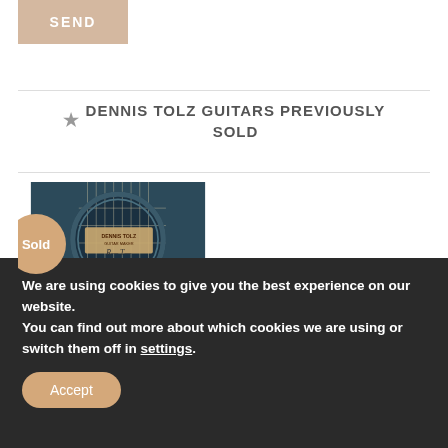SEND
DENNIS TOLZ GUITARS PREVIOUSLY SOLD
[Figure (photo): Close-up photo of a guitar soundhole showing a label inside that reads 'Dennis Tolz' with a signature, overlaid with a circular 'Sold' badge in tan/peach color]
We are using cookies to give you the best experience on our website.
You can find out more about which cookies we are using or switch them off in settings.
Accept